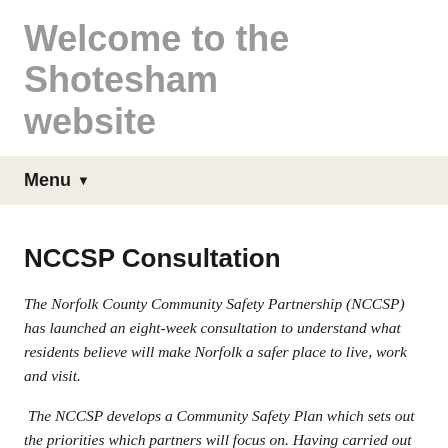Welcome to the Shotesham website
Menu
NCCSP Consultation
The Norfolk County Community Safety Partnership (NCCSP) has launched an eight-week consultation to understand what residents believe will make Norfolk a safer place to live, work and visit.
The NCCSP develops a Community Safety Plan which sets out the priorities which partners will focus on. Having carried out an assessment of crime and community safety issues, the NCCSP has drafted a new three-year plan which proposes new priorities...